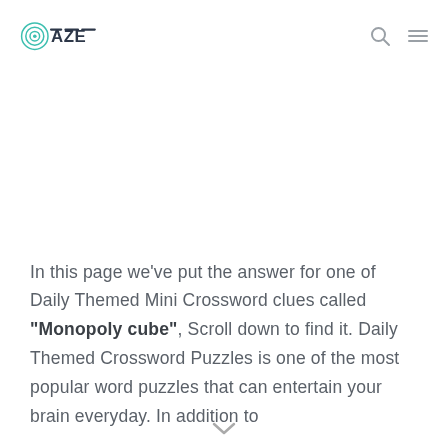DAZE [logo with search and menu icons]
In this page we've put the answer for one of Daily Themed Mini Crossword clues called "Monopoly cube", Scroll down to find it. Daily Themed Crossword Puzzles is one of the most popular word puzzles that can entertain your brain everyday. In addition to